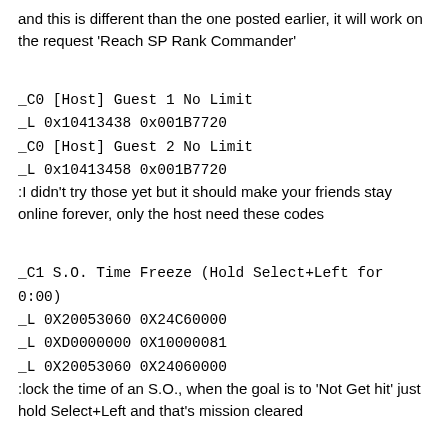and this is different than the one posted earlier, it will work on the request 'Reach SP Rank Commander'
_C0 [Host] Guest 1 No Limit
_L 0x10413438 0x001B7720
_C0 [Host] Guest 2 No Limit
_L 0x10413458 0x001B7720
:I didn't try those yet but it should make your friends stay online forever, only the host need these codes
_C1 S.O. Time Freeze (Hold Select+Left for 0:00)
_L 0X20053060 0X24C60000
_L 0XD0000000 0X10000081
_L 0X20053060 0X24060000
:lock the time of an S.O., when the goal is to 'Not Get hit' just hold Select+Left and that's mission cleared
!!!
_C1 Quick Charge Magics/Suzaku
_L 0x201A7FC0 0xAE8000C0
:make all spells charge almost instantly !!! for some reason, it turn